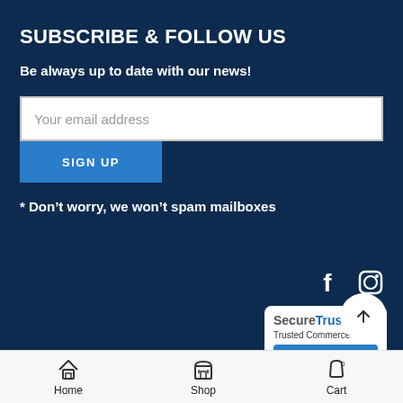SUBSCRIBE & FOLLOW US
Be always up to date with our news!
Your email address
SIGN UP
* Don’t worry, we won’t spam mailboxes
[Figure (infographic): Social media icons: Facebook (f) and Instagram (camera) in white on dark navy background]
[Figure (logo): SecureTrust Trusted Commerce - CLICK TO VALIDATE badge]
[Figure (other): Back to top button - white circle with upward arrow]
Home   Shop   Cart